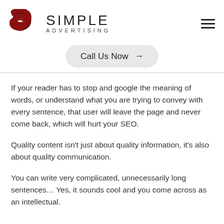[Figure (logo): Simple Advertising logo with stylized red S icon and text 'SIMPLE ADVERTISING']
Call Us Now →
If your reader has to stop and google the meaning of words, or understand what you are trying to convey with every sentence, that user will leave the page and never come back, which will hurt your SEO.
Quality content isn't just about quality information, it's also about quality communication.
You can write very complicated, unnecessarily long sentences… Yes, it sounds cool and you come across as an intellectual.